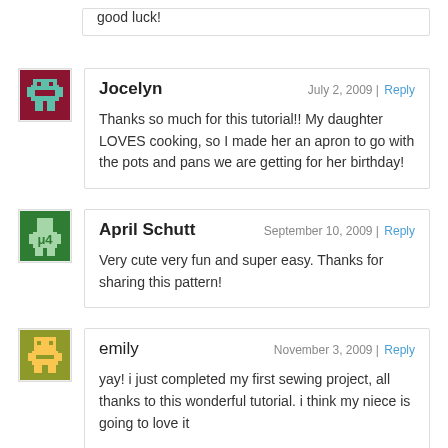good luck!
[Figure (illustration): Avatar icon for Jocelyn - dark red/maroon background with pixel art robot]
Jocelyn
July 2, 2009 | Reply
Thanks so much for this tutorial!! My daughter LOVES cooking, so I made her an apron to go with the pots and pans we are getting for her birthday!
[Figure (illustration): Avatar icon for April Schutt - green background with pixel art character]
April Schutt
September 10, 2009 | Reply
Very cute very fun and super easy. Thanks for sharing this pattern!
[Figure (illustration): Avatar icon for emily - olive/yellow-green background with pixel art character]
emily
November 3, 2009 | Reply
yay! i just completed my first sewing project, all thanks to this wonderful tutorial. i think my niece is going to love it